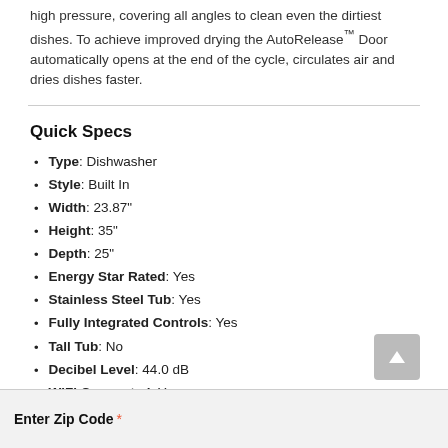high pressure, covering all angles to clean even the dirtiest dishes. To achieve improved drying the AutoRelease™ Door automatically opens at the end of the cycle, circulates air and dries dishes faster.
Quick Specs
Type: Dishwasher
Style: Built In
Width: 23.87"
Height: 35"
Depth: 25"
Energy Star Rated: Yes
Stainless Steel Tub: Yes
Fully Integrated Controls: Yes
Tall Tub: No
Decibel Level: 44.0 dB
WiFi Connected: Yes
See More
Our Price  $888.96
Enter Zip Code *